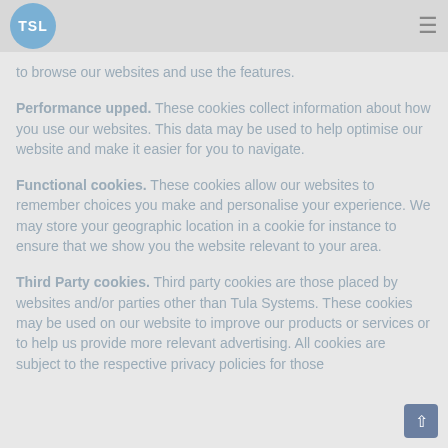TSL
to browse our websites and use the features.
Performance upped. These cookies collect information about how you use our websites. This data may be used to help optimise our website and make it easier for you to navigate.
Functional cookies. These cookies allow our websites to remember choices you make and personalise your experience. We may store your geographic location in a cookie for instance to ensure that we show you the website relevant to your area.
Third Party cookies. Third party cookies are those placed by websites and/or parties other than Tula Systems. These cookies may be used on our website to improve our products or services or to help us provide more relevant advertising. All cookies are subject to the respective privacy policies for those